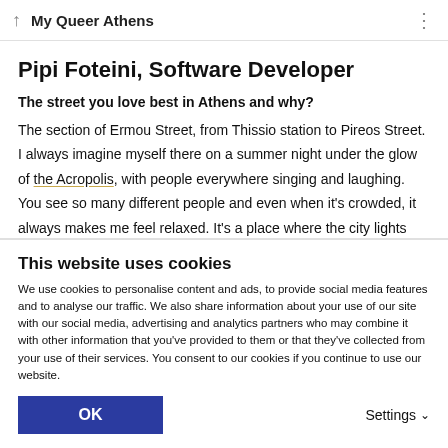My Queer Athens
Pipi Foteini, Software Developer
The street you love best in Athens and why?
The section of Ermou Street, from Thissio station to Pireos Street. I always imagine myself there on a summer night under the glow of the Acropolis, with people everywhere singing and laughing. You see so many different people and even when it's crowded, it always makes me feel relaxed. It's a place where the city lights and wild beauty of Athens never go unnoticed.
What do you think surprises first-time visitors to the city the
This website uses cookies
We use cookies to personalise content and ads, to provide social media features and to analyse our traffic. We also share information about your use of our site with our social media, advertising and analytics partners who may combine it with other information that you've provided to them or that they've collected from your use of their services. You consent to our cookies if you continue to use our website.
OK
Settings